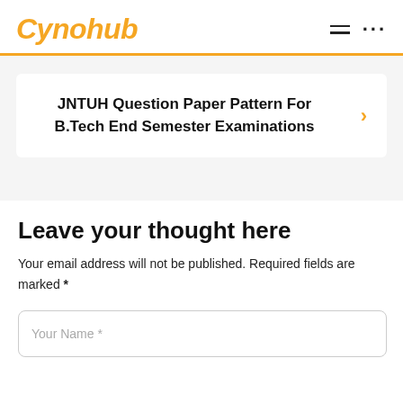Cynohub
JNTUH Question Paper Pattern For B.Tech End Semester Examinations
Leave your thought here
Your email address will not be published. Required fields are marked *
Your Name *